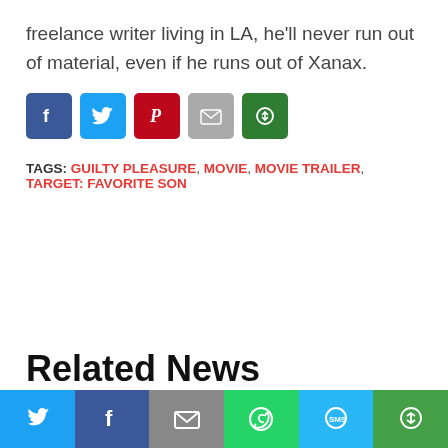freelance writer living in LA, he’ll never run out of material, even if he runs out of Xanax.
[Figure (infographic): Row of 5 social share icon buttons: Facebook (blue), Twitter (light blue), Pinterest (red), Email (gray), More Options (green)]
TAGS: GUILTY PLEASURE, MOVIE, MOVIE TRAILER, TARGET: FAVORITE SON
Related News
[Figure (infographic): Bottom share bar with 6 buttons: Twitter (blue), Facebook (dark blue), Email (gray), WhatsApp (green), SMS (light blue), More Options (green)]